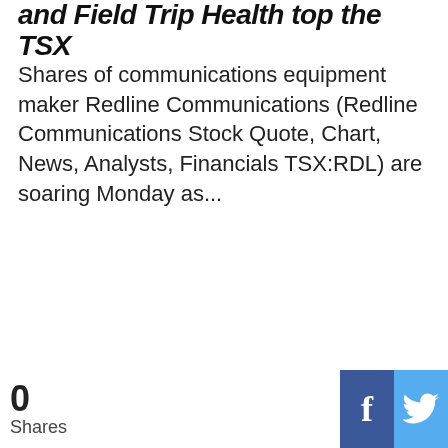and Field Trip Health top the TSX
Shares of communications equipment maker Redline Communications (Redline Communications Stock Quote, Chart, News, Analysts, Financials TSX:RDL) are soaring Monday as...
0 Shares
[Figure (other): Facebook and Twitter social share buttons at bottom of article]